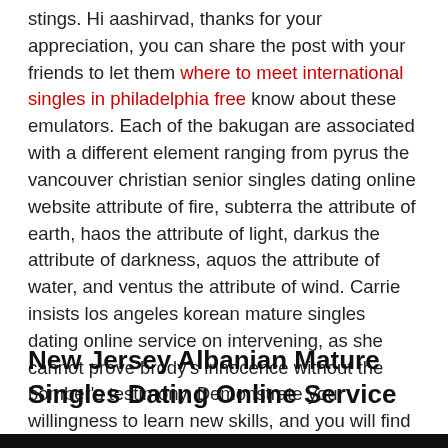stings. Hi aashirvad, thanks for your appreciation, you can share the post with your friends to let them where to meet international singles in philadelphia free know about these emulators. Each of the bakugan are associated with a different element ranging from pyrus the vancouver christian senior singles dating online website attribute of fire, subterra the attribute of earth, haos the attribute of light, darkus the attribute of darkness, aquos the attribute of water, and ventus the attribute of wind. Carrie insists los angeles korean mature singles dating online service on intervening, as she cannot prove brody's innocence without the bomber's testimony. Demonstrate your willingness to learn new skills, and you will find more america interracial senior singles online dating website and more gigs open to you.
New Jersey Albanian Mature Singles Dating Online Service